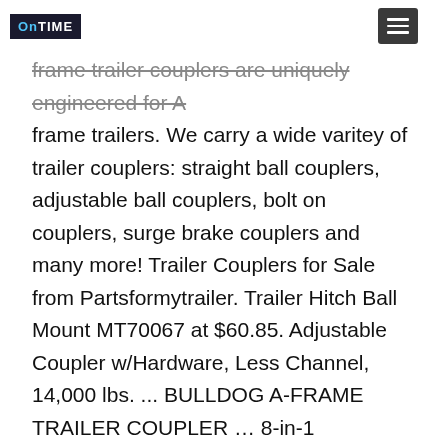OnTime [logo] | Menu icon
frame trailer couplers are uniquely engineered for A frame trailers. We carry a wide varitey of trailer couplers: straight ball couplers, adjustable ball couplers, bolt on couplers, surge brake couplers and many more! Trailer Couplers for Sale from Partsformytrailer. Trailer Hitch Ball Mount MT70067 at $60.85. Adjustable Coupler w/Hardware, Less Channel, 14,000 lbs. ... BULLDOG A-FRAME TRAILER COUPLER … 8-in-1 Adjustable Ball Mount Hitch. SELECT STORE. It has the right configurations to mount a vertical channel bracket. Visit TruckSpring.com or call 1-800-358-4751. Home Delivery. We all wish to build win-win deals … Adjustable couplers offer the flexibility of changing the coupler height to match multiple towing vehicles. Fits